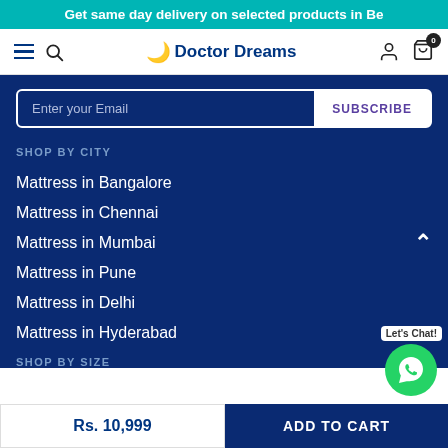Get same day delivery on selected products in Be
[Figure (screenshot): Doctor Dreams e-commerce website navigation bar with hamburger menu, search icon, Doctor Dreams logo with moon icon, user account icon and cart icon with badge showing 0]
Enter your Email
SUBSCRIBE
SHOP BY CITY
Mattress in Bangalore
Mattress in Chennai
Mattress in Mumbai
Mattress in Pune
Mattress in Delhi
Mattress in Hyderabad
SHOP BY SIZE
Rs. 10,999
ADD TO CART